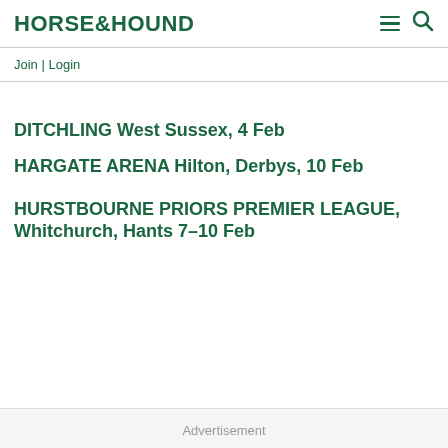HORSE&HOUND
Join | Login
DITCHLING West Sussex, 4 Feb
HARGATE ARENA Hilton, Derbys, 10 Feb
HURSTBOURNE PRIORS PREMIER LEAGUE, Whitchurch, Hants 7–10 Feb
Advertisement